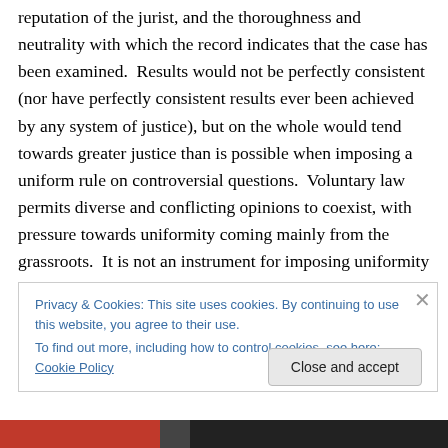reputation of the jurist, and the thoroughness and neutrality with which the record indicates that the case has been examined.  Results would not be perfectly consistent (nor have perfectly consistent results ever been achieved by any system of justice), but on the whole would tend towards greater justice than is possible when imposing a uniform rule on controversial questions.  Voluntary law permits diverse and conflicting opinions to coexist, with pressure towards uniformity coming mainly from the grassroots.  It is not an instrument for imposing uniformity against opposition.  Anyone publicly holding to a
Privacy & Cookies: This site uses cookies. By continuing to use this website, you agree to their use.
To find out more, including how to control cookies, see here: Cookie Policy
Close and accept